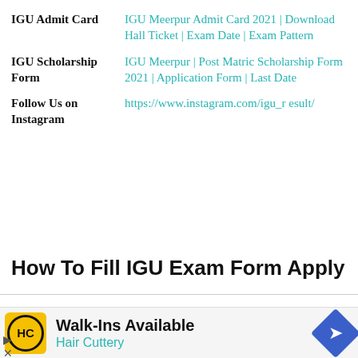|  |  |
| --- | --- |
| IGU Admit Card | IGU Meerpur Admit Card 2021 | Download Hall Ticket | Exam Date | Exam Pattern |
| IGU Scholarship Form | IGU Meerpur | Post Matric Scholarship Form 2021 | Application Form | Last Date |
| Follow Us on Instagram | https://www.instagram.com/igu_result/ |
How To Fill IGU Exam Form Apply
[Figure (other): Advertisement banner for Hair Cuttery Walk-Ins Available with yellow logo, navigation icon]